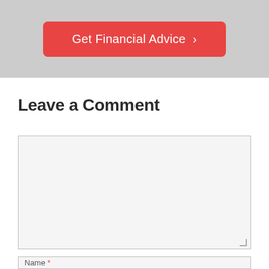[Figure (other): Gray banner area with a red rounded call-to-action button reading 'Get Financial Advice ›']
Leave a Comment
[Figure (other): Large empty text area input box with light gray background and gray border for comment entry]
[Figure (other): Partial input field at bottom of page, presumably for Name entry]